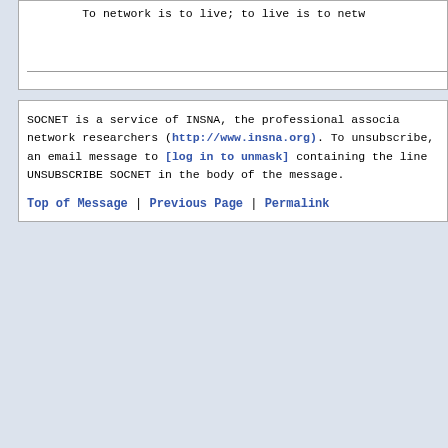To network is to live; to live is to netw...
SOCNET is a service of INSNA, the professional associa... network researchers (http://www.insna.org). To unsubscribe, an email message to [log in to unmask] containing the line UNSUBSCRIBE SOCNET in the body of the message.
Top of Message | Previous Page | Permalink